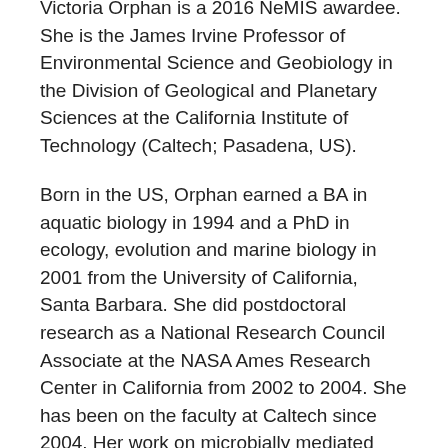Victoria Orphan is a 2016 NeMIS awardee. She is the James Irvine Professor of Environmental Science and Geobiology in the Division of Geological and Planetary Sciences at the California Institute of Technology (Caltech; Pasadena, US).
Born in the US, Orphan earned a BA in aquatic biology in 1994 and a PhD in ecology, evolution and marine biology in 2001 from the University of California, Santa Barbara. She did postdoctoral research as a National Research Council Associate at the NASA Ames Research Center in California from 2002 to 2004. She has been on the faculty at Caltech since 2004. Her work on microbially mediated anaerobic oxidation of methane in deep-sea sediment has won her the prestigious MacArthur Fellowship (known as the “genius grant”). She is also the recipient of the 2010 Presidential Early Career Award for Scientists and Engineers and the Gordon and Betty Moore Foundation Investigator Award, among many others.
Orphan is a pioneer of techniques that combine molecular